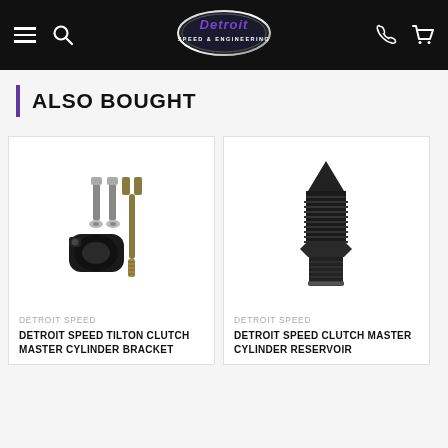Detroit Speed & Engineering — navigation header with logo, hamburger menu, search, phone, and cart icons
ALSO BOUGHT
[Figure (photo): Detroit Speed Tilton Clutch Master Cylinder Bracket product photo — shows bracket, bolts, washers, and a threaded rod/fork end]
DETROIT SPEED
DETROIT SPEED TILTON CLUTCH MASTER CYLINDER BRACKET
[Figure (photo): Detroit Speed Clutch Master Cylinder Reservoir product photo — shows a black AN male fitting/adapter with threaded body and hex base]
DETROIT SPEED
DETROIT SPEED CLUTCH MASTER CYLINDER RESERVOIR